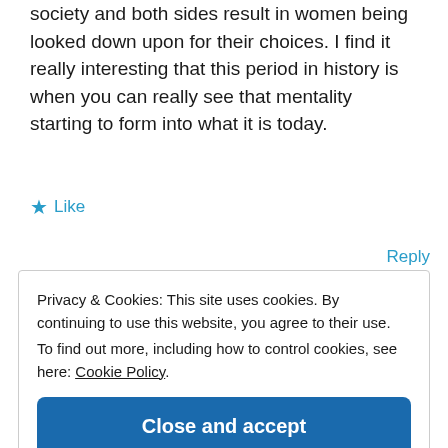society and both sides result in women being looked down upon for their choices. I find it really interesting that this period in history is when you can really see that mentality starting to form into what it is today.
★ Like
Reply
Privacy & Cookies: This site uses cookies. By continuing to use this website, you agree to their use.
To find out more, including how to control cookies, see here: Cookie Policy
Close and accept